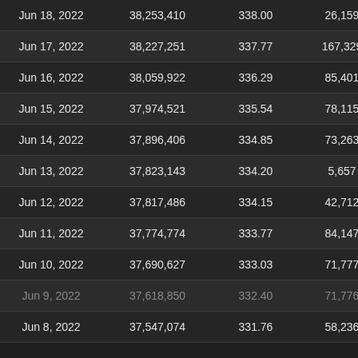| Date | Total Supply | Price | Daily Change |  |
| --- | --- | --- | --- | --- |
| Jun 18, 2022 | 38,253,410 | 338.00 | 26,159 |  |
| Jun 17, 2022 | 38,227,251 | 337.77 | 167,329 |  |
| Jun 16, 2022 | 38,059,922 | 336.29 | 85,401 |  |
| Jun 15, 2022 | 37,974,521 | 335.54 | 78,115 |  |
| Jun 14, 2022 | 37,896,406 | 334.85 | 73,263 |  |
| Jun 13, 2022 | 37,823,143 | 334.20 | 5,657 |  |
| Jun 12, 2022 | 37,817,486 | 334.15 | 42,712 |  |
| Jun 11, 2022 | 37,774,774 | 333.77 | 84,147 |  |
| Jun 10, 2022 | 37,690,627 | 333.03 | 71,777 |  |
| Jun 9, 2022 | 37,618,850 | 332.40 | 71,776 |  |
| Jun 8, 2022 | 37,547,074 | 331.76 | 58,236 |  |